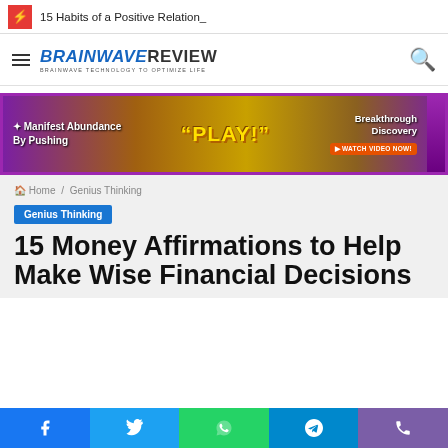15 Habits of a Positive Relation_
[Figure (logo): BrainWave Review logo with tagline BRAINWAVE TECHNOLOGY TO OPTIMIZE LIFE]
[Figure (infographic): Advertisement banner: Manifest Abundance By Pushing PLAY! Breakthrough Discovery - WATCH VIDEO NOW!]
Home / Genius Thinking
Genius Thinking
15 Money Affirmations to Help Make Wise Financial Decisions
[Figure (infographic): Social media share buttons: Facebook, Twitter, WhatsApp, Telegram, Phone]